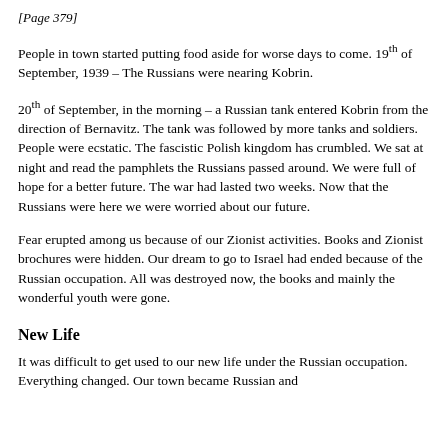[Page 379]
People in town started putting food aside for worse days to come. 19th of September, 1939 – The Russians were nearing Kobrin.
20th of September, in the morning – a Russian tank entered Kobrin from the direction of Bernavitz. The tank was followed by more tanks and soldiers. People were ecstatic. The fascistic Polish kingdom has crumbled. We sat at night and read the pamphlets the Russians passed around. We were full of hope for a better future. The war had lasted two weeks. Now that the Russians were here we were worried about our future.
Fear erupted among us because of our Zionist activities. Books and Zionist brochures were hidden. Our dream to go to Israel had ended because of the Russian occupation. All was destroyed now, the books and mainly the wonderful youth were gone.
New Life
It was difficult to get used to our new life under the Russian occupation. Everything changed. Our town became Russian and